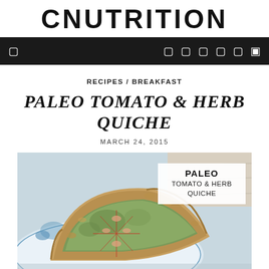C NUTRITION
RECIPES / BREAKFAST
PALEO TOMATO & HERB QUICHE
MARCH 24, 2015
[Figure (photo): Photo of a slice of paleo tomato and herb quiche on a blue and white plate, with a text overlay reading PALEO TOMATO & HERB QUICHE]